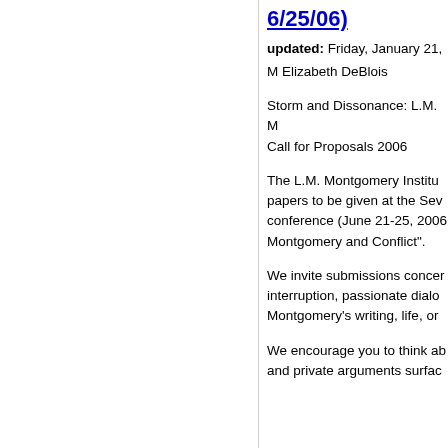6/25/06)
updated: Friday, January 21,
M Elizabeth DeBlois
Storm and Dissonance: L.M. M
Call for Proposals 2006
The L.M. Montgomery Institu papers to be given at the Sev conference (June 21-25, 2006 Montgomery and Conflict".
We invite submissions concer interruption, passionate dialo Montgomery's writing, life, or
We encourage you to think ab and private arguments surfac